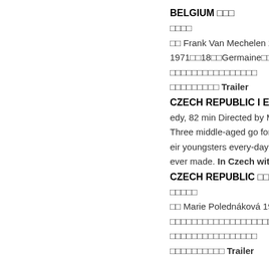BELGIUM 🎬🎬🎬
🎬🎬🎬🎬
🎬🎬 Frank Van Mechelen 20...
1971🎬🎬18🎬🎬Germaine🎬🎬🎬🎬🎬
🎬🎬🎬🎬🎬🎬🎬🎬🎬🎬🎬🎬🎬🎬🎬🎬
🎬🎬🎬🎬🎬🎬🎬🎬🎬 Trailer
CZECH REPUBLIC | Enjedy, 82 min Directed by M Three middle-aged go for their youngsters every-day ever made. In Czech wit
CZECH REPUBLIC 🎬🎬
🎬🎬🎬🎬🎬
🎬🎬 Marie Polednáková 198...
🎬🎬🎬🎬🎬🎬🎬🎬🎬🎬🎬🎬🎬🎬🎬🎬🎬🎬🎬🎬🎬🎬🎬🎬🎬🎬🎬🎬🎬🎬🎬🎬
🎬🎬🎬🎬🎬🎬🎬🎬🎬🎬🎬🎬🎬🎬🎬🎬
🎬🎬🎬🎬🎬🎬🎬🎬🎬🎬 Trailer